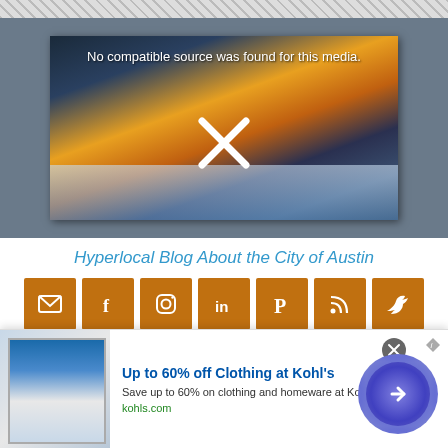[Figure (screenshot): Video player showing error message 'No compatible source was found for this media.' with a large X mark overlay on a cityscape sunset image]
Hyperlocal Blog About the City of Austin
[Figure (infographic): Row of 7 orange social media icon buttons: email, Facebook, Instagram, LinkedIn, Pinterest, RSS, Twitter]
THINGS TO DO
[Figure (screenshot): Advertisement banner: Up to 60% off Clothing at Kohl's - Save up to 60% on clothing and homeware at Kohl's.com - kohls.com]
Up to 60% off Clothing at Kohl's
Save up to 60% on clothing and homeware at Kohl's.com
kohls.com